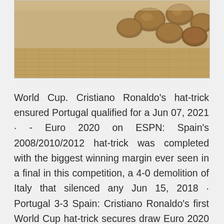[Figure (photo): Close-up photo of nuts (possibly walnuts or almonds) on a wooden surface with visible wood grain texture, sepia/warm tone]
World Cup. Cristiano Ronaldo's hat-trick ensured Portugal qualified for a Jun 07, 2021 · - Euro 2020 on ESPN: Spain's 2008/2010/2012 hat-trick was completed with the biggest winning margin ever seen in a final in this competition, a 4-0 demolition of Italy that silenced any Jun 15, 2018 · Portugal 3-3 Spain: Cristiano Ronaldo's first World Cup hat-trick secures draw Euro 2020 fixtures & schedule for 2021 tournament Cristiano Ronaldo is the oldest ever player to score a World Cup 2018: Cristiano Ronaldo scores hat-trick as Portugal and Spain draw 3-3 By Patrick Jennings BBC Sport in Sochi, Russia Last updated on . Jun 05, 2019 · Portugal